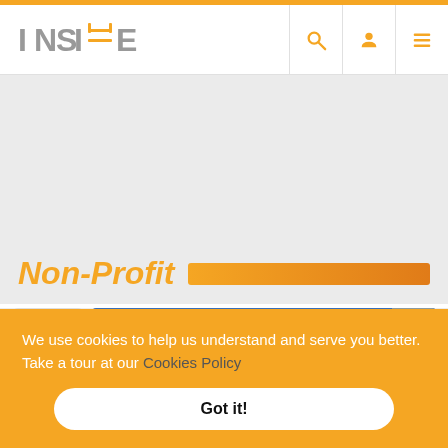[Figure (logo): INSITE logo with orange Y character]
[Figure (illustration): Navigation icons: search, user/profile, hamburger menu]
[Figure (screenshot): Gray background placeholder area]
Non-Profit
[Figure (screenshot): Card area with date Jul 5 and blue image card with OOH speech bubble]
We use cookies to help us understand and serve you better. Take a tour at our Cookies Policy
Got it!